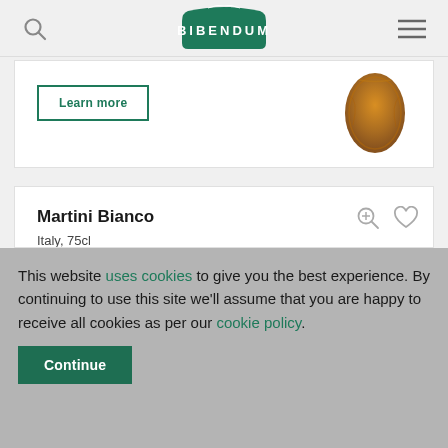BIBENDUM
Learn more
Martini Bianco
Italy, 75cl
This website uses cookies to give you the best experience. By continuing to use this site we'll assume that you are happy to receive all cookies as per our cookie policy.
Continue